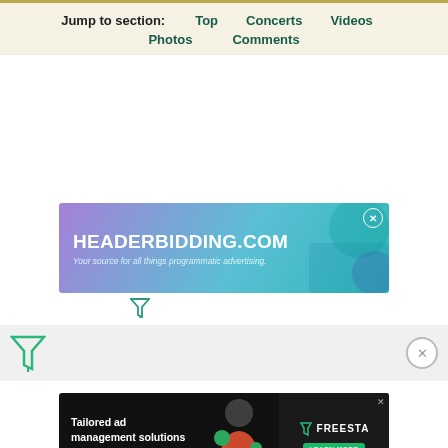Jump to section: Top  Concerts  Videos  Photos  Comments
[Figure (infographic): Advertisement banner: HEADERBIDDING.COM - Your source for all things programmatic advertising. Purple to teal gradient background with decorative graphic elements and close button.]
[Figure (infographic): Small filter/funnel icon below the first ad banner.]
[Figure (infographic): Gray strip with large green filter/funnel icon on left and circular X close button on right.]
[Figure (infographic): Advertisement banner: Tailored ad management solutions for every publisher. FREESTA logo with LEARN MORE button. Dark background with colorful character illustration.]
[Figure (infographic): Orange help/question mark chat bubble icon in bottom left corner.]